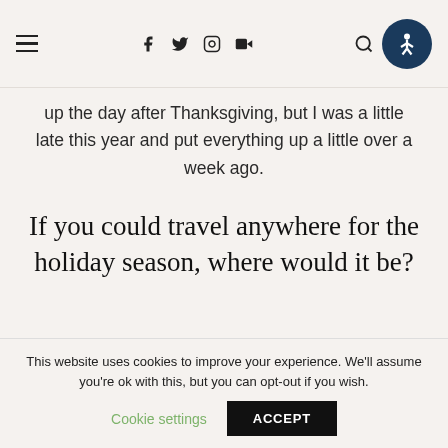≡  f  t  ☐  ▶  🔍  [accessibility icon]
up the day after Thanksgiving, but I was a little late this year and put everything up a little over a week ago.
If you could travel anywhere for the holiday season, where would it be?
Honestly, I'd stay right here. I love spending the holidays at home with my loved ones more than anything, plus people are wild around the end of the
This website uses cookies to improve your experience. We'll assume you're ok with this, but you can opt-out if you wish.
Cookie settings  ACCEPT